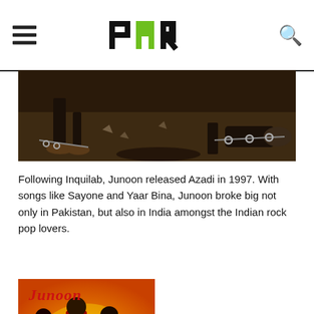PMR
[Figure (photo): Dark moody photograph showing people on the ground, chains visible, gritty urban setting.]
Following Inquilab, Junoon released Azadi in 1997. With songs like Sayone and Yaar Bina, Junoon broke big not only in Pakistan, but also in India amongst the Indian rock pop lovers.
[Figure (photo): Album cover of Junoon showing three band members standing against an orange fiery background with the text 'Junoon' in red stylized font at the top.]